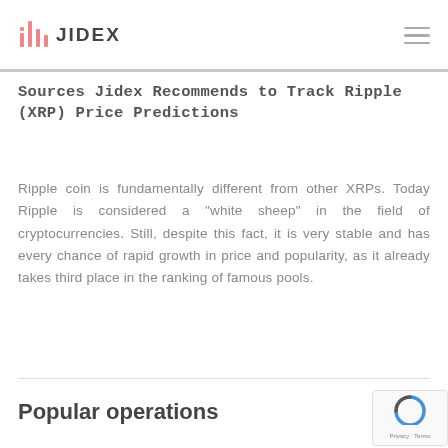JIDEX
Sources Jidex Recommends to Track Ripple (XRP) Price Predictions
Ripple coin is fundamentally different from other XRPs. Today Ripple is considered a "white sheep" in the field of cryptocurrencies. Still, despite this fact, it is very stable and has every chance of rapid growth in price and popularity, as it already takes third place in the ranking of famous pools.
Popular operations